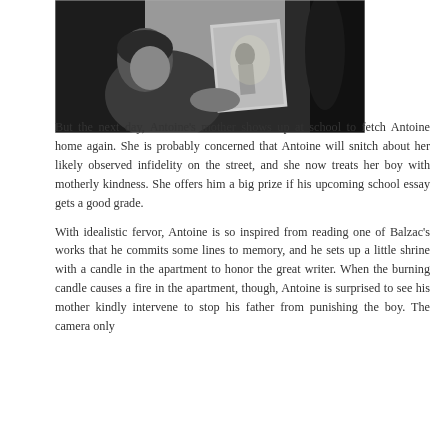[Figure (photo): Black and white photograph of a young boy looking at a photograph or picture, viewed from the side/above.]
But the next day, Antoine's mother shows up at school to fetch Antoine home again. She is probably concerned that Antoine will snitch about her likely observed infidelity on the street, and she now treats her boy with motherly kindness. She offers him a big prize if his upcoming school essay gets a good grade.

With idealistic fervor, Antoine is so inspired from reading one of Balzac's works that he commits some lines to memory, and he sets up a little shrine with a candle in the apartment to honor the great writer. When the burning candle causes a fire in the apartment, though, Antoine is surprised to see his mother kindly intervene to stop his father from punishing the boy. The camera only